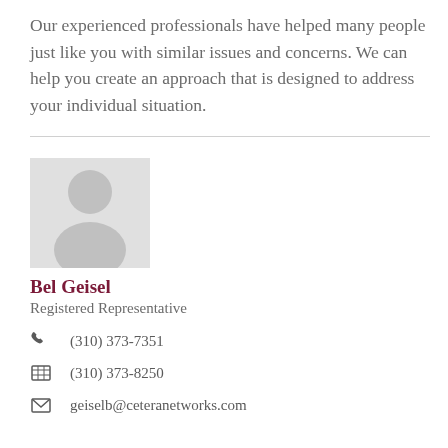Our experienced professionals have helped many people just like you with similar issues and concerns. We can help you create an approach that is designed to address your individual situation.
[Figure (photo): Generic placeholder profile photo showing a silhouette of a person (head and shoulders) on a light gray background.]
Bel Geisel
Registered Representative
(310) 373-7351
(310) 373-8250
geiselb@ceteranetworks.com